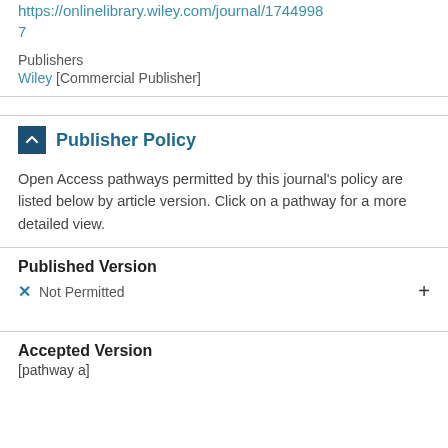https://onlinelibrary.wiley.com/journal/17449987
Publishers
Wiley [Commercial Publisher]
Publisher Policy
Open Access pathways permitted by this journal's policy are listed below by article version. Click on a pathway for a more detailed view.
Published Version
✗ Not Permitted
Accepted Version
[pathway a]